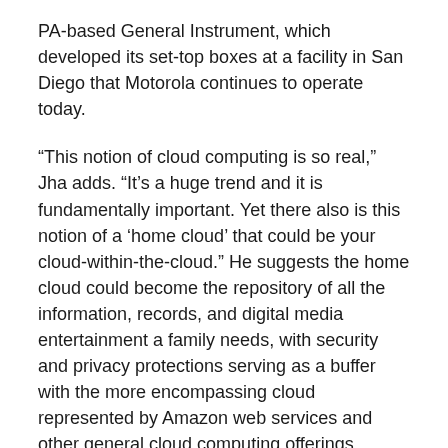PA-based General Instrument, which developed its set-top boxes at a facility in San Diego that Motorola continues to operate today.
“This notion of cloud computing is so real,” Jha adds. “It’s a huge trend and it is fundamentally important. Yet there also is this notion of a ‘home cloud’ that could be your cloud-within-the-cloud.” He suggests the home cloud could become the repository of all the information, records, and digital media entertainment a family needs, with security and privacy protections serving as a buffer with the more encompassing cloud represented by Amazon web services and other general cloud computing offerings.
Jha came to San Diego at least two decades ago from the GEC Hirst Research Labs in London (after getting his doctorate in electronic and electrical engineering from Scotland’s University of